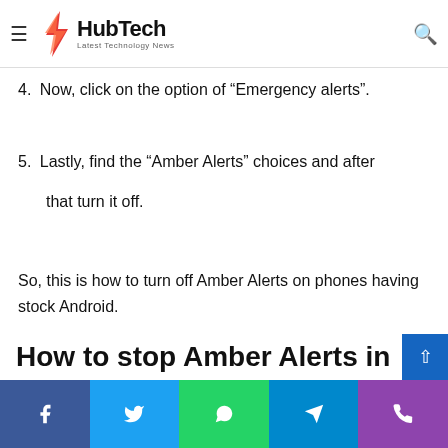HubTech - Latest Technology News
4. Now, click on the option of “Emergency alerts”.
5. Lastly, find the “Amber Alerts” choices and after that turn it off.
So, this is how to turn off Amber Alerts on phones having stock Android.
How to stop Amber Alerts in Samsung phones?
Social share buttons: Facebook, Twitter, WhatsApp, Telegram, Phone